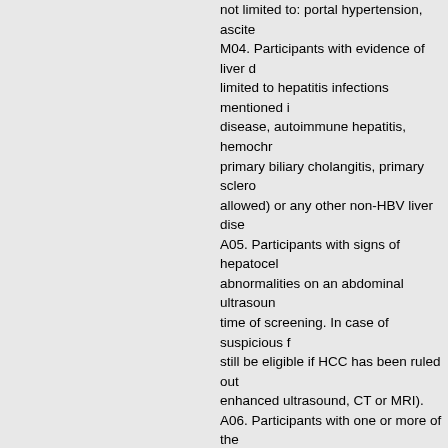not limited to: portal hypertension, ascite M04. Participants with evidence of liver d limited to hepatitis infections mentioned i disease, autoimmune hepatitis, hemochr primary biliary cholangitis, primary sclero allowed) or any other non-HBV liver dise A05. Participants with signs of hepatocel abnormalities on an abdominal ultrasoun time of screening. In case of suspicious f still be eligible if HCC has been ruled out enhanced ultrasound, CT or MRI). A06. Participants with one or more of the defined by the Division of Acquired Immu (see Section 10.9, Appendix 9: DAIDS Ta a. Estimated glomerular filtration rate (eG the Chronic Kidney Disease Epidemiolog b. Pancreatic lipase elevation ≥grade 3; c. Pancreatic amylase elevation ≥grade 3 d. Hemoglobin ≤10.9 g/dL (males), ≤10.4 e. Platelet count ≤lower limit of normal (L f. Alpha-fetoprotein (AFP) >100 ng/mL; Note: Participants with AFP >ULN but <1